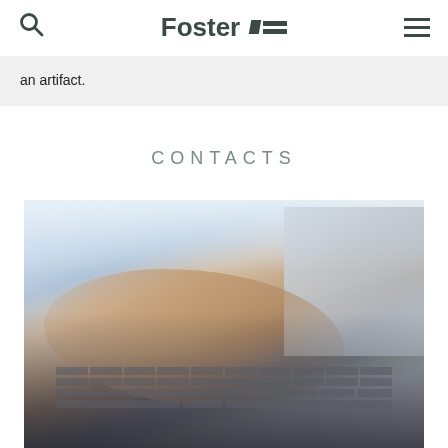Foster
an artifact.
CONTACTS
[Figure (photo): Close-up photo of a person's hand typing on a laptop keyboard, with a blurred bright background]